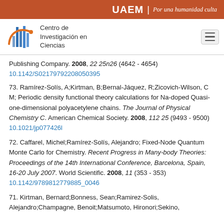UAEM | Por una humanidad culta
[Figure (logo): Centro de Investigación en Ciencias logo with stylized blue bars and orange curve, alongside institution name text]
Publishing Company. 2008, 22 25n26 (4642 - 4654) 10.1142/S02179792208050395
73. Ramírez-Solís, A;Kirtman, B;Bernal-Jáquez, R;Zicovich-Wilson, C M; Periodic density functional theory calculations for Na-doped Quasi-one-dimensional polyacetylene chains. The Journal of Physical Chemistry C. American Chemical Society. 2008, 112 25 (9493 - 9500) 10.1021/jp077426l
72. Caffarel, Michel;Ramírez-Solís, Alejandro; Fixed-Node Quantum Monte Carlo for Chemistry. Recent Progress in Many-body Theories: Proceedings of the 14th International Conference, Barcelona, Spain, 16-20 July 2007. World Scientific. 2008, 11 (353 - 353) 10.1142/9789812779885_0046
71. Kirtman, Bernard;Bonness, Sean;Ramirez-Solis, Alejandro;Champagne, Benoit;Matsumoto, Hironori;Sekino,